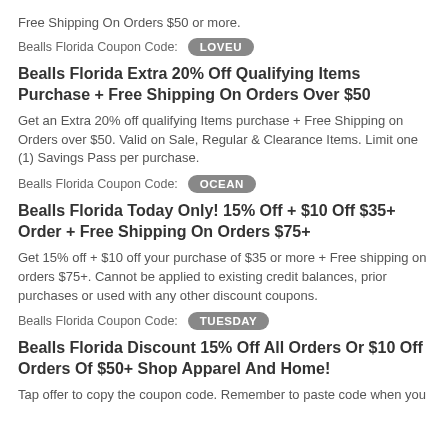Free Shipping On Orders $50 or more.
Bealls Florida Coupon Code: LOVEU
Bealls Florida Extra 20% Off Qualifying Items Purchase + Free Shipping On Orders Over $50
Get an Extra 20% off qualifying Items purchase + Free Shipping on Orders over $50. Valid on Sale, Regular & Clearance Items. Limit one (1) Savings Pass per purchase.
Bealls Florida Coupon Code: OCEAN
Bealls Florida Today Only! 15% Off + $10 Off $35+ Order + Free Shipping On Orders $75+
Get 15% off + $10 off your purchase of $35 or more + Free shipping on orders $75+. Cannot be applied to existing credit balances, prior purchases or used with any other discount coupons.
Bealls Florida Coupon Code: TUESDAY
Bealls Florida Discount 15% Off All Orders Or $10 Off Orders Of $50+ Shop Apparel And Home!
Tap offer to copy the coupon code. Remember to paste code when you